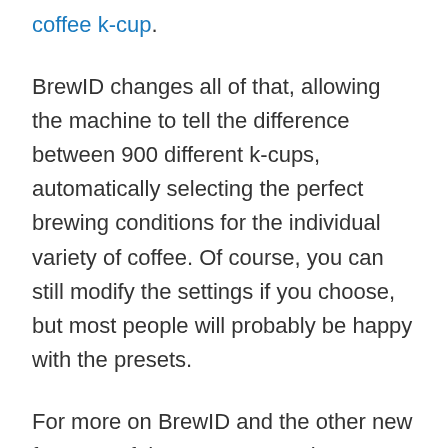coffee k-cup.
BrewID changes all of that, allowing the machine to tell the difference between 900 different k-cups, automatically selecting the perfect brewing conditions for the individual variety of coffee. Of course, you can still modify the settings if you choose, but most people will probably be happy with the presets.
For more on BrewID and the other new features of the K-Supreme Plus Smart, check out my full rundown of the difference between K-Supreme models.